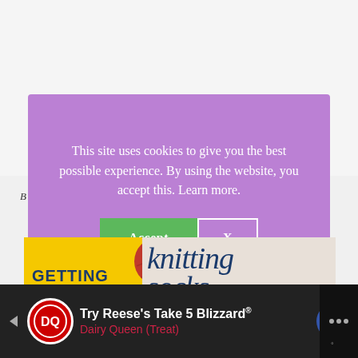[Figure (screenshot): Cookie consent modal overlay on a purple background. Text reads: 'This site uses cookies to give you the best possible experience. By using the website, you accept this. Learn more.' with two buttons: a green 'Accept' button and a white-bordered 'X' button.]
This site uses cookies to give you the best possible experience. By using the website, you accept this. Learn more.
[Figure (photo): Book cover section for 'Getting Started knitting socks' showing yellow panel with bold blue text 'GETTING STARTED', yarn balls in red, teal, and orange, and large italic blue text 'knitting socks' on the right.]
[Figure (screenshot): Advertisement bar for Dairy Queen at the bottom: 'Try Reese's Take 5 Blizzard® Dairy Queen (Treat)' with DQ logo and navigation icons on dark background.]